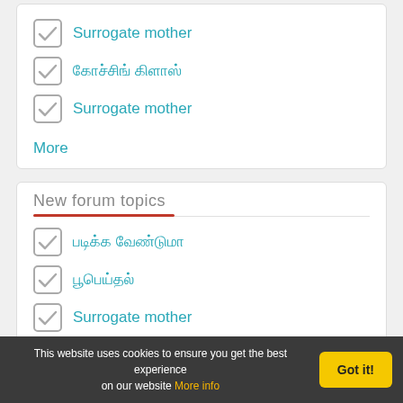Surrogate mother
கோச்சிங் கிளாஸ்
Surrogate mother
More
New forum topics
படிக்க வேண்டுமா
பூபெய்தல்
Surrogate mother
Surrogate mother
This website uses cookies to ensure you get the best experience on our website More info
Got it!